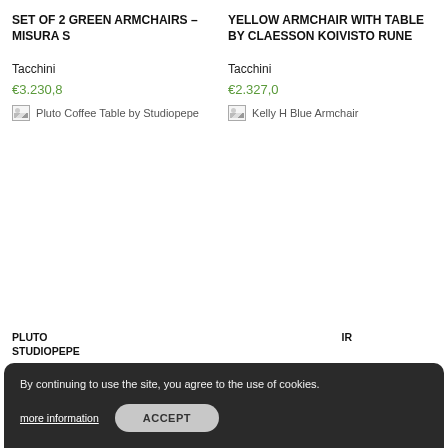SET OF 2 GREEN ARMCHAIRS – MISURA S
Tacchini
€3.230,8
[Figure (photo): Broken image placeholder for Pluto Coffee Table by Studiopepe]
YELLOW ARMCHAIR WITH TABLE BY CLAESSON KOIVISTO RUNE
Tacchini
€2.327,0
[Figure (photo): Broken image placeholder for Kelly H Blue Armchair]
PLUTO COFFEE TABLE BY STUDIOPEPE
By continuing to use the site, you agree to the use of cookies.
more information
ACCEPT